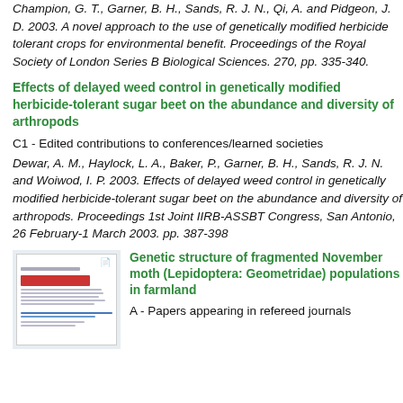Champion, G. T., Garner, B. H., Sands, R. J. N., Qi, A. and Pidgeon, J. D. 2003. A novel approach to the use of genetically modified herbicide tolerant crops for environmental benefit. Proceedings of the Royal Society of London Series B Biological Sciences. 270, pp. 335-340.
Effects of delayed weed control in genetically modified herbicide-tolerant sugar beet on the abundance and diversity of arthropods
C1 - Edited contributions to conferences/learned societies
Dewar, A. M., Haylock, L. A., Baker, P., Garner, B. H., Sands, R. J. N. and Woiwod, I. P. 2003. Effects of delayed weed control in genetically modified herbicide-tolerant sugar beet on the abundance and diversity of arthropods. Proceedings 1st Joint IIRB-ASSBT Congress, San Antonio, 26 February-1 March 2003. pp. 387-398
[Figure (screenshot): Thumbnail image of a document page showing formatted text and blue/red colored lines]
Genetic structure of fragmented November moth (Lepidoptera: Geometridae) populations in farmland
A - Papers appearing in refereed journals